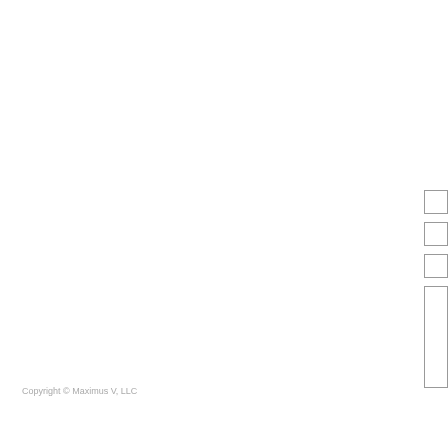[Figure (other): Four rectangular boxes/form fields arranged vertically along the right edge of the page: three small boxes and one taller box]
Copyright © Maximus V, LLC